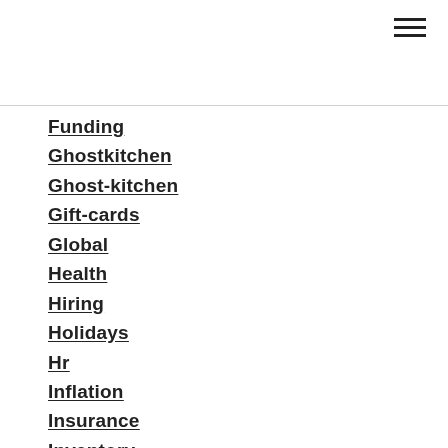[Figure (other): Hamburger menu icon (three horizontal lines) in top right corner]
Funding
Ghostkitchen
Ghost-kitchen
Gift-cards
Global
Health
Hiring
Holidays
Hr
Inflation
Insurance
Inventory
Investment
Kitchen
Labor
Lease